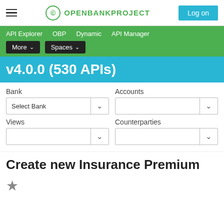OPENBANKPROJECT — Log on
API Explorer   OBP   Dynamic   API Manager   More ▾   Spaces ▾
v4.0.0 (530 APIs)
Bank
Select Bank
Accounts
Views
Counterparties
Create new Insurance Premium
★